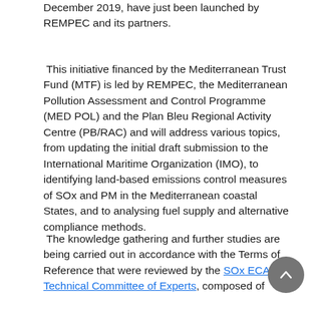December 2019, have just been launched by REMPEC and its partners.
This initiative financed by the Mediterranean Trust Fund (MTF) is led by REMPEC, the Mediterranean Pollution Assessment and Control Programme (MED POL) and the Plan Bleu Regional Activity Centre (PB/RAC) and will address various topics, from updating the initial draft submission to the International Maritime Organization (IMO), to identifying land-based emissions control measures of SOx and PM in the Mediterranean coastal States, and to analysing fuel supply and alternative compliance methods.
The knowledge gathering and further studies are being carried out in accordance with the Terms of Reference that were reviewed by the SOx ECA(s) Technical Committee of Experts, composed of